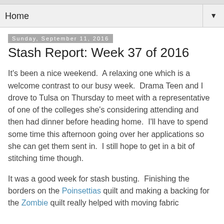Home
Sunday, September 11, 2016
Stash Report: Week 37 of 2016
It's been a nice weekend.  A relaxing one which is a welcome contrast to our busy week.  Drama Teen and I drove to Tulsa on Thursday to meet with a representative of one of the colleges she's considering attending and then had dinner before heading home.  I'll have to spend some time this afternoon going over her applications so she can get them sent in.  I still hope to get in a bit of stitching time though.
It was a good week for stash busting.  Finishing the borders on the Poinsettias quilt and making a backing for the Zombie quilt really helped with moving fabric